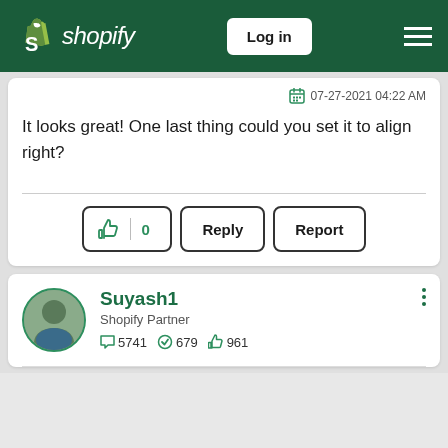Shopify — Log in
07-27-2021 04:22 AM
It looks great! One last thing could you set it to align right?
👍 0   Reply   Report
Suyash1
Shopify Partner
5741  679  961